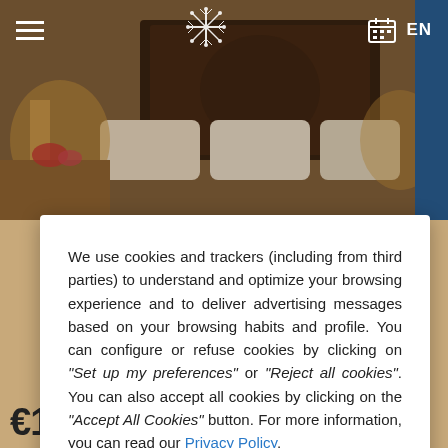[Figure (photo): Hotel room background photo showing a bed with pillows and warm lighting, with navigation overlay including hamburger menu, snowflake logo, calendar icon, and EN language selector]
We use cookies and trackers (including from third parties) to understand and optimize your browsing experience and to deliver advertising messages based on your browsing habits and profile. You can configure or refuse cookies by clicking on "Set up my preferences" or "Reject all cookies". You can also accept all cookies by clicking on the "Accept All Cookies" button. For more information, you can read our Privacy Policy.
Reject all cookies
Set up my preferences
Accept all cookies
€112.5 / DAY